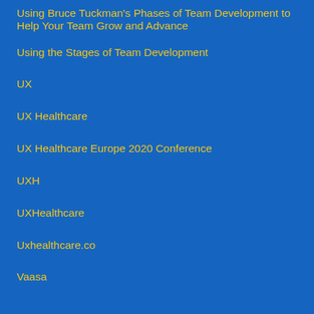Using Bruce Tuckman's Phases of Team Development to Help Your Team Grow and Advance
Using the Stages of Team Development
UX
UX Healthcare
UX Healthcare Europe 2020 Conference
UXH
UXHealthcare
Uxhealthcare.co
Vaasa